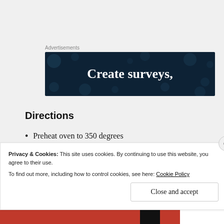[Figure (other): Advertisement banner with dark navy background and circular dot pattern, showing text 'Create surveys,' in white bold serif font]
Directions
Preheat oven to 350 degrees
Precook your chicken before you cut it. I boiled
Privacy & Cookies: This site uses cookies. By continuing to use this website, you agree to their use.
To find out more, including how to control cookies, see here: Cookie Policy
Close and accept